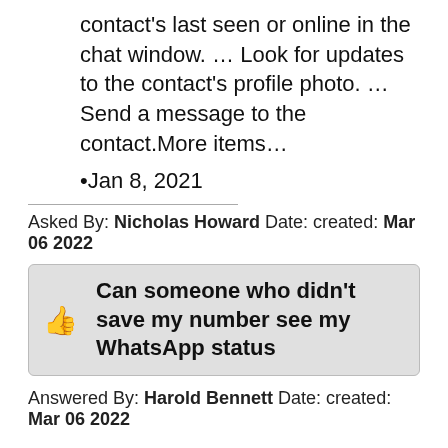contact's last seen or online in the chat window. … Look for updates to the contact's profile photo. … Send a message to the contact.More items…
•Jan 8, 2021
Asked By: Nicholas Howard Date: created: Mar 06 2022
Can someone who didn't save my number see my WhatsApp status
Answered By: Harold Bennett Date: created: Mar 06 2022
Your status updates can only be seen by someone if you have their phone number in your phone's address book and they have your phone number in their phone's address book. You can choose to share your status updates